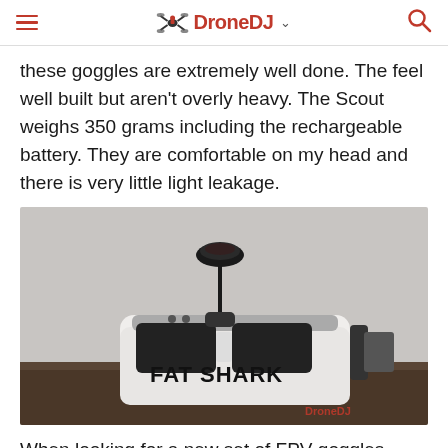DroneDJ
these goggles are extremely well done. The feel well built but aren't overly heavy. The Scout weighs 350 grams including the rechargeable battery. They are comfortable on my head and there is very little light leakage.
[Figure (photo): Fat Shark FPV goggles (white) with a mushroom antenna on top, sitting on a wooden surface against a white wall. The goggles have 'FAT SHARK' text and a shark logo on the front. A DroneDJ watermark appears in the bottom right corner.]
When looking for a new set of FPV goggles make sure